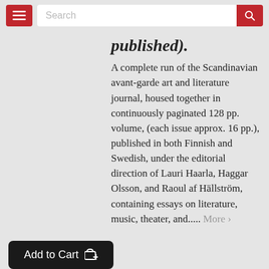[Figure (screenshot): Website navigation bar with red hamburger menu button, white search input field with placeholder text 'Search', and red search button with magnifying glass icon]
published).
A complete run of the Scandinavian avant-garde art and literature journal, housed together in continuously paginated 128 pp. volume, (each issue approx. 16 pp.), published in both Finnish and Swedish, under the editorial direction of Lauri Haarla, Haggar Olsson, and Raoul af Hällström, containing essays on literature, music, theater, and..... More ›
Add to Cart
$2,750.00